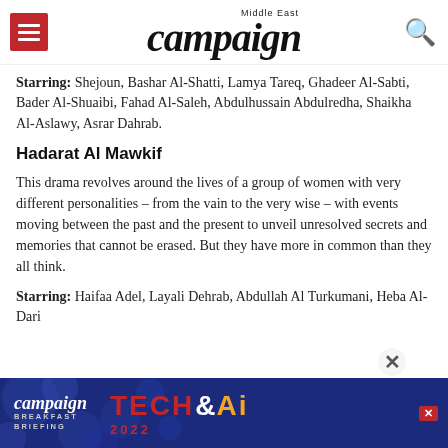campaign Middle East
Starring: Shejoun, Bashar Al-Shatti, Lamya Tareq, Ghadeer Al-Sabti, Bader Al-Shuaibi, Fahad Al-Saleh, Abdulhussain Abdulredha, Shaikha Al-Aslawy, Asrar Dahrab.
Hadarat Al Mawkif
This drama revolves around the lives of a group of women with very different personalities – from the vain to the very wise – with events moving between the past and the present to unveil unresolved secrets and memories that cannot be erased. But they have more in common than they all think.
Starring: Haifaa Adel, Layali Dehrab, Abdullah Al Turkumani, Heba Al-Dari
[Figure (other): Campaign Tech & AI Breakfast Briefing advertisement banner with circular bokeh background in dark blue]